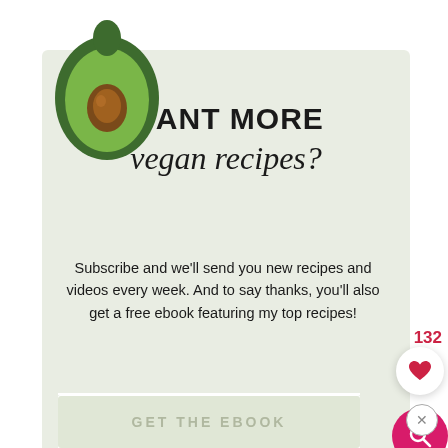[Figure (illustration): Avocado half illustration, green with brown pit, cartoon style]
WANT MORE vegan recipes?
Subscribe and we'll send you new recipes and videos every week. And to say thanks, you'll also get a free ebook featuring my top recipes!
Name
Email
GET THE EBOOK